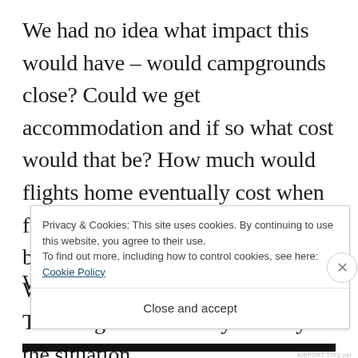We had no idea what impact this would have – would campgrounds close? Could we get accommodation and if so what cost would that be? How much would flights home eventually cost when flying resumed? Would lockdown be for a month or several months? What if the UK borders closed? The list goes on when you analysis the situation.
Privacy & Cookies: This site uses cookies. By continuing to use this website, you agree to their use. To find out more, including how to control cookies, see here: Cookie Policy
Close and accept